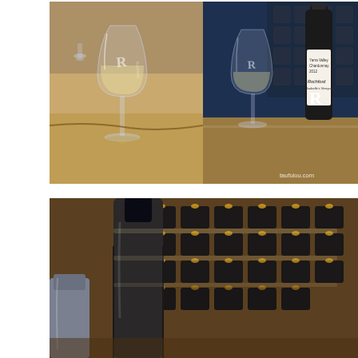[Figure (photo): Top collage of two photos: left shows a Rochford branded wine glass with white wine on a wooden bar counter; right shows the same style glass next to a dark Rochford Yarra Valley Chardonnay 2012 wine bottle. Watermark taufulou.com visible in bottom right.]
[Figure (photo): Bottom photo showing a close-up of a wine bottle with a dark blue/black cap in the foreground, with rows of illuminated wine bottles displayed in a dark grid wine rack in the background, warm amber light glowing from behind each bottle.]